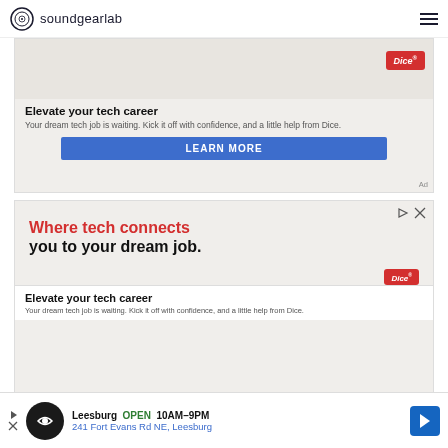soundgearlab
[Figure (screenshot): Advertisement for Dice tech jobs - first instance, partially visible top section with Dice logo badge, 'Elevate your tech career' headline, body text, and blue LEARN MORE button. Ad label shown.]
[Figure (screenshot): Advertisement for Dice tech jobs - second instance. Shows 'Where tech connects you to your dream job.' headline in red and black, Dice badge logo, and partially visible 'Elevate your tech career' section below.]
[Figure (screenshot): Bottom sticky advertisement banner: Leesburg OPEN 10AM-9PM, 241 Fort Evans Rd NE, Leesburg with map/directions icon.]